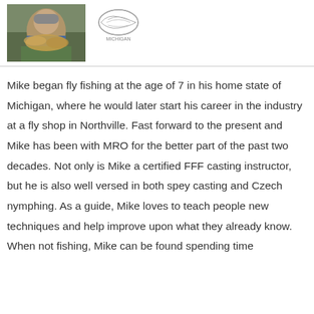[Figure (photo): Photo of a man holding a large fish, wearing sunglasses and a blue shirt, outdoors near water]
[Figure (logo): MRO / fly fishing company logo with fish/wave graphic]
Mike began fly fishing at the age of 7 in his home state of Michigan, where he would later start his career in the industry at a fly shop in Northville. Fast forward to the present and Mike has been with MRO for the better part of the past two decades. Not only is Mike a certified FFF casting instructor, but he is also well versed in both spey casting and Czech nymphing. As a guide, Mike loves to teach people new techniques and help improve upon what they already know. When not fishing, Mike can be found spending time